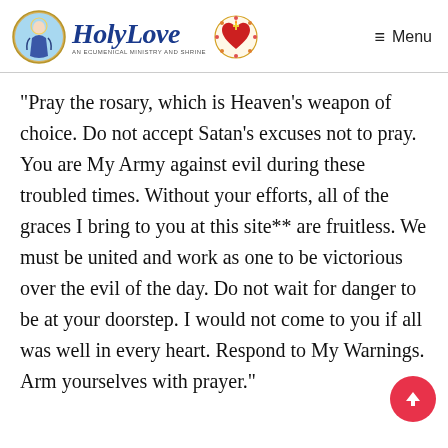HolyLove — An Ecumenical Ministry and Shrine | Menu
"Pray the rosary, which is Heaven's weapon of choice. Do not accept Satan's excuses not to pray. You are My Army against evil during these troubled times. Without your efforts, all of the graces I bring to you at this site** are fruitless. We must be united and work as one to be victorious over the evil of the day. Do not wait for danger to be at your doorstep. I would not come to you if all was well in every heart. Respond to My Warnings. Arm yourselves with prayer."